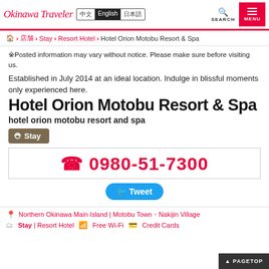Okinawa Traveler | 中文 English 日本語 | SEARCH | MENU
🏠 > 店舗 > Stay > Resort Hotel > Hotel Orion Motobu Resort & Spa
※Posted information may vary without notice. Please make sure before visiting us.
Established in July 2014 at an ideal location. Indulge in blissful moments only experienced here.
Hotel Orion Motobu Resort & Spa
hotel orion motobu resort and spa
Stay
☎ 0980-51-7300
Tweet
Northern Okinawa Main Island | Motobu Town・Nakijin Village
Stay | Resort Hotel   Free Wi-Fi   Credit Cards